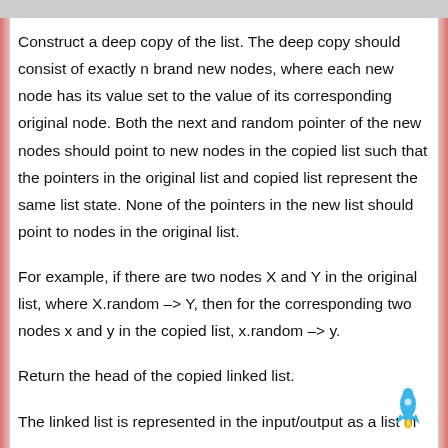Construct a deep copy of the list. The deep copy should consist of exactly n brand new nodes, where each new node has its value set to the value of its corresponding original node. Both the next and random pointer of the new nodes should point to new nodes in the copied list such that the pointers in the original list and copied list represent the same list state. None of the pointers in the new list should point to nodes in the original list.
For example, if there are two nodes X and Y in the original list, where X.random –> Y, then for the corresponding two nodes x and y in the copied list, x.random –> y.
Return the head of the copied linked list.
The linked list is represented in the input/output as a list of